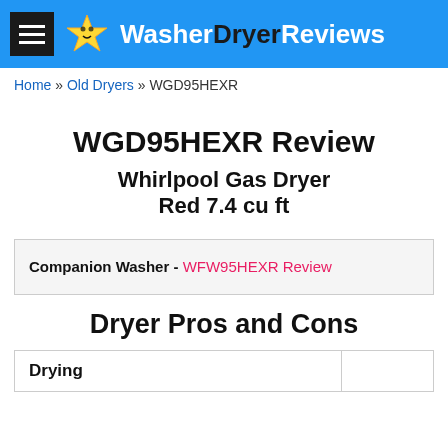WasherDryerReviews
Home » Old Dryers » WGD95HEXR
WGD95HEXR Review
Whirlpool  Gas Dryer
Red  7.4 cu ft
Companion Washer - WFW95HEXR Review
Dryer Pros and Cons
| Drying |  |
| --- | --- |